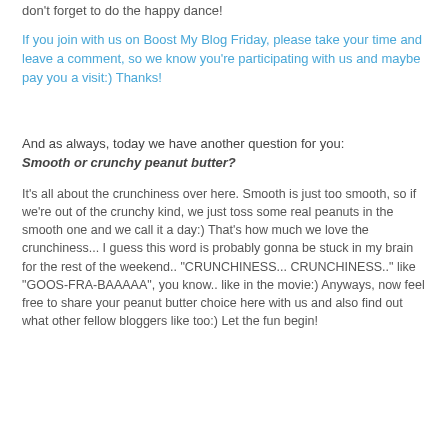don't forget to do the happy dance!
If you join with us on Boost My Blog Friday, please take your time and leave a comment, so we know you're participating with us and maybe pay you a visit:) Thanks!
And as always, today we have another question for you: Smooth or crunchy peanut butter?
It's all about the crunchiness over here. Smooth is just too smooth, so if we're out of the crunchy kind, we just toss some real peanuts in the smooth one and we call it a day:) That's how much we love the crunchiness... I guess this word is probably gonna be stuck in my brain for the rest of the weekend.. "CRUNCHINESS... CRUNCHINESS.." like "GOOS-FRA-BAAAAA", you know.. like in the movie:) Anyways, now feel free to share your peanut butter choice here with us and also find out what other fellow bloggers like too:) Let the fun begin!